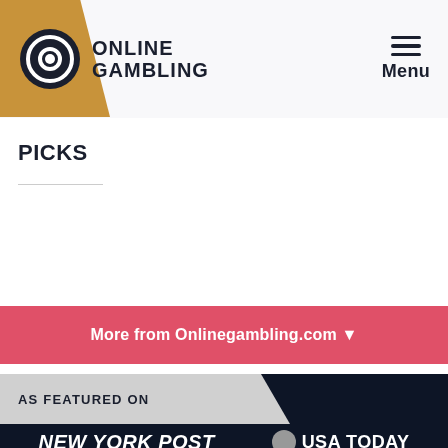Online Gambling | Menu
PICKS
More from Onlinegambling.com ▼
AS FEATURED ON
[Figure (logo): New York Post logo in white italic text on dark navy background]
[Figure (logo): USA Today logo with gray circle and white text on dark navy background]